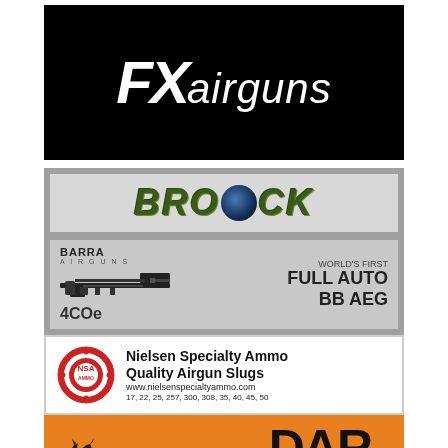[Figure (logo): FX Airguns logo — white stylized text 'FX airguns' on black background]
[Figure (logo): Brocock logo — camo-style italic lettering on grey background]
[Figure (infographic): Barra Airguns 4COe advertisement — gun image with text 'WORLD'S FIRST FULL AUTO BB AEG']
[Figure (logo): Nielsen Specialty Ammo advertisement — NSA circular logo with text 'Nielsen Specialty Ammo Quality Airgun Slugs www.nielsenspecialtyammo.com 17, 22, 25, 257, 300, 308, 35, 40, 45, 50']
[Figure (logo): DAR Dynamic Air Rifles advertisement on orange background with lynx silhouette — 'NOW BACK IN STOCK!!']